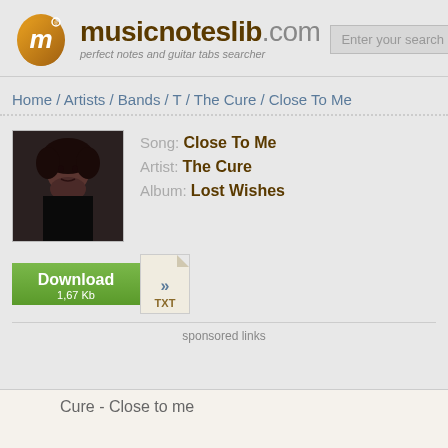[Figure (logo): musicnoteslib.com logo with guitar pick icon and tagline 'perfect notes and guitar tabs searcher']
Home / Artists / Bands / T / The Cure / Close To Me
[Figure (photo): Artist photo of The Cure member with curly dark hair]
Song: Close To Me
Artist: The Cure
Album: Lost Wishes
[Figure (other): Download button (green) with TXT file icon, labeled 'Download 1,67 Kb']
sponsored links
Cure - Close to me